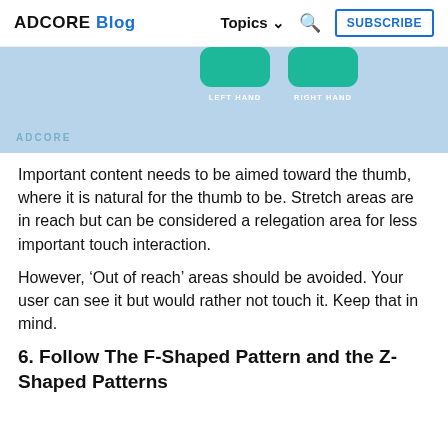ADCORE Blog  Topics  Subscribe
[Figure (illustration): Light blue background with two teal rounded rectangle phone buttons labeled LEFT HAND and RIGHT HAND. ADCORE watermark at bottom left.]
Important content needs to be aimed toward the thumb, where it is natural for the thumb to be. Stretch areas are in reach but can be considered a relegation area for less important touch interaction.
However, ‘Out of reach’ areas should be avoided. Your user can see it but would rather not touch it. Keep that in mind.
6. Follow The F-Shaped Pattern and the Z-Shaped Patterns